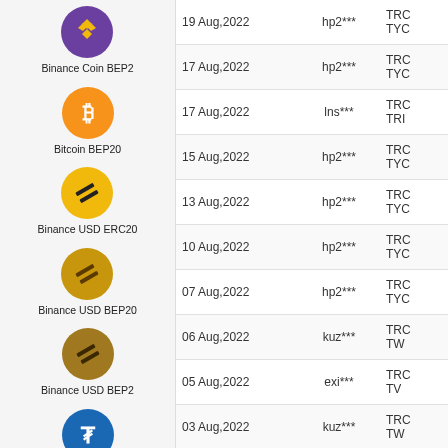[Figure (infographic): Left column of cryptocurrency icons with labels: Binance Coin BEP2 (purple logo), Bitcoin BEP20 (orange Bitcoin logo), Binance USD ERC20 (yellow striped logo), Binance USD BEP20 (gold striped logo), Binance USD BEP2 (dark gold striped logo), Tether Omni (blue Tether logo), Tether ERC20 (teal Tether logo), Tether TRC20 (red Tether logo)]
| Date | User | Address |
| --- | --- | --- |
| 19 Aug,2022 | hp2*** | TRC... TYC... |
| 17 Aug,2022 | hp2*** | TRC... TYC... |
| 17 Aug,2022 | lns*** | TRC... TRI... |
| 15 Aug,2022 | hp2*** | TRC... TYC... |
| 13 Aug,2022 | hp2*** | TRC... TYC... |
| 10 Aug,2022 | hp2*** | TRC... TYC... |
| 07 Aug,2022 | hp2*** | TRC... TYC... |
| 06 Aug,2022 | kuz*** | TRC... TW... |
| 05 Aug,2022 | exi*** | TRC... TV... |
| 03 Aug,2022 | kuz*** | TRC... TW... |
| 02 Aug,2022 | kuz*** | TRC... TW... |
| 30 Jul,2022 | hp2*** | TRC... |